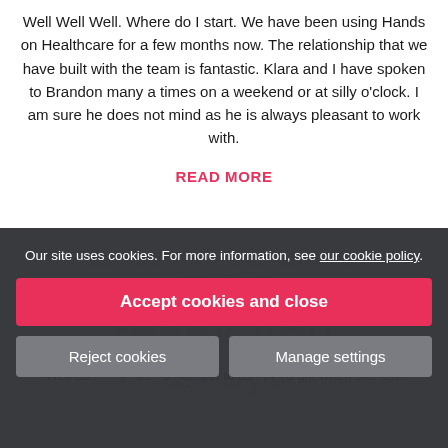Well Well Well. Where do I start. We have been using Hands on Healthcare for a few months now. The relationship that we have built with the team is fantastic. Klara and I have spoken to Brandon many a times on a weekend or at silly o'clock. I am sure he does not mind as he is always pleasant to work with.
READ MORE
[Figure (logo): Hands on Healthcare Recruitment logo — text 'HANDS ON HEALTHCARE' with 'RECRUITMENT' below in smaller letters, light grey/watermark style]
Our site uses cookies. For more information, see our cookie policy.
Accept cookies and close
Reject cookies
Manage settings
Well as... ll... be... o... od out to us... pr... o gift when she left.